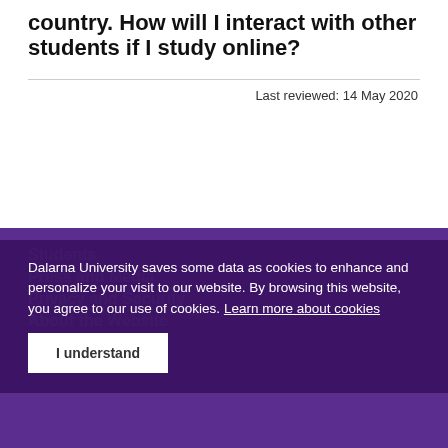country. How will I interact with other students if I study online?
Last reviewed: 14 May 2020
Dalarna University saves some data as cookies to enhance and personalize your visit to our website. By browsing this website, you agree to our use of cookies. Learn more about cookies
I understand
Students
Press and Media
Privacy and Security
About the Website